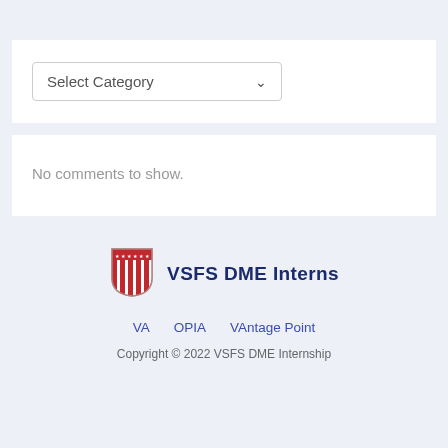[Figure (screenshot): Select Category dropdown widget]
No comments to show.
[Figure (logo): VSFS DME Interns logo with American flag shield icon]
VSFS DME Interns
VA   OPIA   VAntage Point
Copyright © 2022 VSFS DME Internship